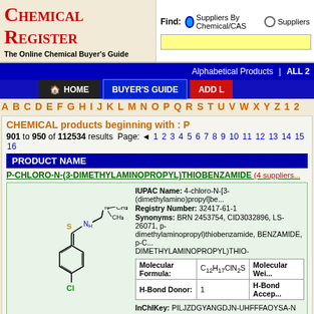[Figure (logo): Chemical Register logo with CR initials in red and flask illustration]
The Online Chemical Buyer's Guide
Find: Suppliers By Chemical/CAS  Suppliers...
Alphabetical Products | ALL 2...
HOME  BUYER'S GUIDE  ADD L...
A B C D E F G H I J K L M N O P Q R S T U V W X Y Z 1 2
CHEMICAL products beginning with : P
901 to 950 of 112534 results  Page: ◄ 1 2 3 4 5 6 7 8 9 10 11 12 13 14 15 16...
PRODUCT NAME
P-CHLORO-N-(3-DIMETHYLAMINOPROPYL)THIOBENZAMIDE (4 suppliers...)
[Figure (illustration): Chemical structural formula of P-CHLORO-N-(3-DIMETHYLAMINOPROPYL)THIOBENZAMIDE showing benzene ring with Cl substituent, C=S group, NH, and dimethylaminopropyl chain]
IUPAC Name: 4-chloro-N-[3-(dimethylamino)propyl]be...
Registry Number: 32417-61-1
Synonyms: BRN 2453754, CID3032896, LS-26071, p-dimethylaminopropyl)thiobenzamide, BENZAMIDE, p-C... DIMETHYLAMINOPROPYL)THIO-
| Molecular Formula: | C12H17ClN2S | Molecular Wei... |
| --- | --- | --- |
| H-Bond Donor: | 1 | H-Bond Accep... |
InChIKey: PILJZDGYANGDJN-UHFFFAOYSA-N
p-Chloro-N-(5,5-dimethyl-2-oxotetrahydrofuran-2-yl)benzamide (3 sup...)